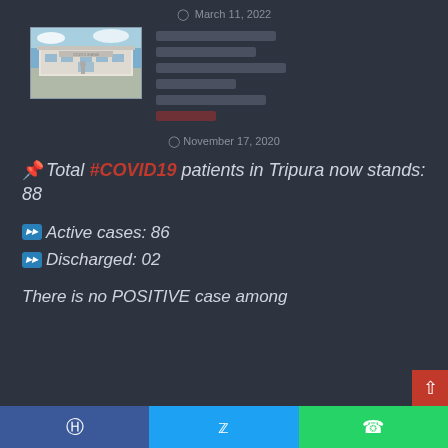March 11, 2022
[Figure (photo): A white government or council building with a statue in front, blue sky background]
November 17, 2020
📌Total #COVID19 patients in Tripura now stands: 88
▶▶ Active cases: 86
▶▶ Discharged: 02
There is no POSITIVE case among
Facebook | Twitter | WhatsApp